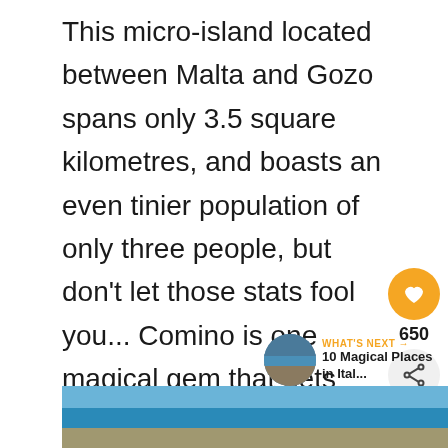This micro-island located between Malta and Gozo spans only 3.5 square kilometres, and boasts an even tinier population of only three people, but don't let those stats fool you... Comino is one magical gem that gets beyond busy during peak season. Still, you can't deny the appeal of that stunning blue water, can you?
[Figure (photo): Thumbnail photo of coastal/cliffside scenery used as 'What's Next' preview image]
[Figure (photo): Partial photo strip at bottom showing blue sea and rocky coastline under blue sky]